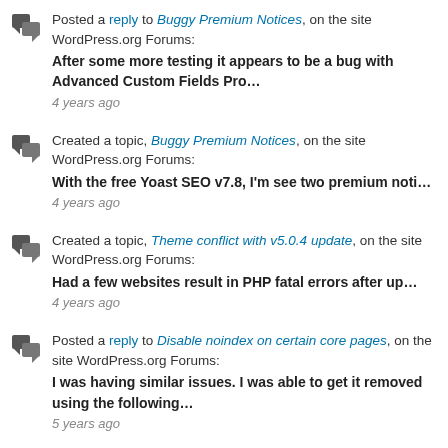Posted a reply to Buggy Premium Notices, on the site WordPress.org Forums: After some more testing it appears to be a bug with Advanced Custom Fields Pro… 4 years ago
Created a topic, Buggy Premium Notices, on the site WordPress.org Forums: With the free Yoast SEO v7.8, I'm see two premium noti… 4 years ago
Created a topic, Theme conflict with v5.0.4 update, on the site WordPress.org Forums: Had a few websites result in PHP fatal errors after up… 4 years ago
Posted a reply to Disable noindex on certain core pages, on the site WordPress.org Forums: I was having similar issues. I was able to get it removed using the following… 5 years ago
Posted a reply to Fatal Error with WP Query, on the site WordPress.org Forums: